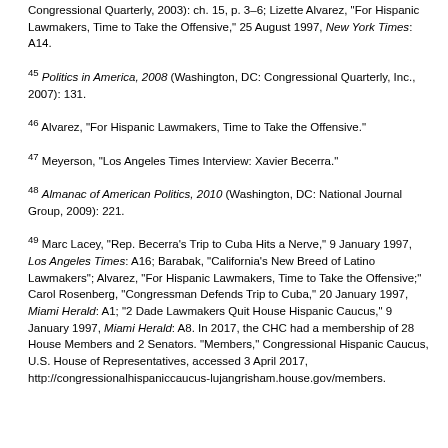Congressional Quarterly, 2003): ch. 15, p. 3–6; Lizette Alvarez, "For Hispanic Lawmakers, Time to Take the Offensive," 25 August 1997, New York Times: A14.
45 Politics in America, 2008 (Washington, DC: Congressional Quarterly, Inc., 2007): 131.
46 Alvarez, "For Hispanic Lawmakers, Time to Take the Offensive."
47 Meyerson, "Los Angeles Times Interview: Xavier Becerra."
48 Almanac of American Politics, 2010 (Washington, DC: National Journal Group, 2009): 221.
49 Marc Lacey, "Rep. Becerra's Trip to Cuba Hits a Nerve," 9 January 1997, Los Angeles Times: A16; Barabak, "California's New Breed of Latino Lawmakers"; Alvarez, "For Hispanic Lawmakers, Time to Take the Offensive;" Carol Rosenberg, "Congressman Defends Trip to Cuba," 20 January 1997, Miami Herald: A1; "2 Dade Lawmakers Quit House Hispanic Caucus," 9 January 1997, Miami Herald: A8. In 2017, the CHC had a membership of 28 House Members and 2 Senators. "Members," Congressional Hispanic Caucus, U.S. House of Representatives, accessed 3 April 2017, http://congressionalhispaniccaucus-lujangrisham.house.gov/members.